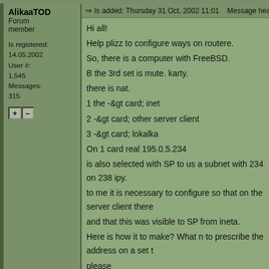Is added: Thursday 31 Oct, 2002 11:01   Message heading: проблемы с пу
AlikaaTOD
Forum member

Is registered: 14.05.2002
User #: 1,545
Messages: 315
Hi all!
Help plizz to configure ways on routere.
So, there is a computer with FreeBSD.
B the 3rd set is mute. karty.
there is nat.
1 the -&gt; card; inet
2 -&gt; card; other server client
3 -&gt; card; lokalka
On 1 card real 195.0.5.234
is also selected with SP to us a subnet with 234 on 238 ipy.
to me it is necessary to configure so that on the server client there
and that this was visible to SP from ineta.
Here is how it to make? What n to prescribe the address on a set t
please
To return to the beginning
профиль   приват   фотки